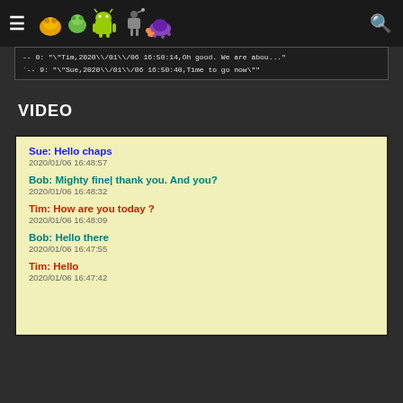Navigation header with logo icons and search
[Figure (screenshot): Code block showing array entries: `-- 0: "\"Tim,2020\\/01\\/06 16:50:14,Oh good. We are abou..."` and `-- 9: "\"Sue,2020\\/01\\/06 16:50:40,Time to go now\""`]
VIDEO
Sue: Hello chaps
2020/01/06 16:48:57

Bob: Mighty fine| thank you. And you?
2020/01/06 16:48:32

Tim: How are you today ?
2020/01/06 16:48:09

Bob: Hello there
2020/01/06 16:47:55

Tim: Hello
2020/01/06 16:47:42